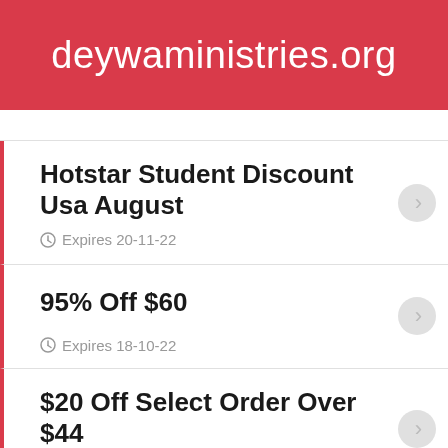deywaministries.org
Hotstar Student Discount Usa August
Expires 20-11-22
95% Off $60
Expires 18-10-22
$20 Off Select Order Over $44
Expires 17-11-22